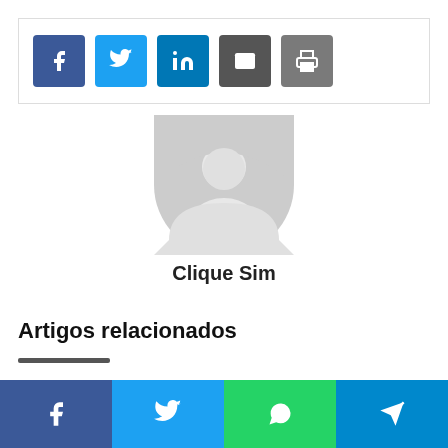[Figure (infographic): Social share buttons: Facebook (blue), Twitter (light blue), LinkedIn (teal-blue), Email (dark gray), Print (gray)]
[Figure (illustration): Generic gray avatar/profile placeholder icon showing a person silhouette]
Clique Sim
Artigos relacionados
[Figure (infographic): Bottom social bar with Facebook, Twitter, WhatsApp, and Telegram icons]